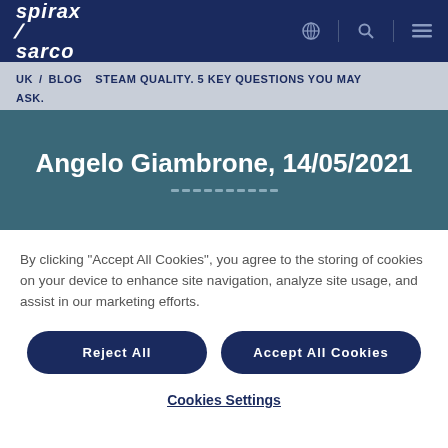[Figure (logo): Spirax Sarco logo in white on dark navy navigation bar with globe, search, and menu icons]
UK / BLOG   STEAM QUALITY. 5 KEY QUESTIONS YOU MAY ASK.
Angelo Giambrone, 14/05/2021
By clicking “Accept All Cookies”, you agree to the storing of cookies on your device to enhance site navigation, analyze site usage, and assist in our marketing efforts.
Reject All
Accept All Cookies
Cookies Settings